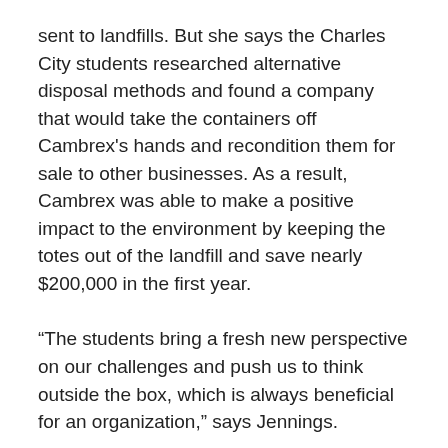sent to landfills. But she says the Charles City students researched alternative disposal methods and found a company that would take the containers off Cambrex's hands and recondition them for sale to other businesses. As a result, Cambrex was able to make a positive impact to the environment by keeping the totes out of the landfill and save nearly $200,000 in the first year.
“The students bring a fresh new perspective on our challenges and push us to think outside the box, which is always beneficial for an organization,” says Jennings.